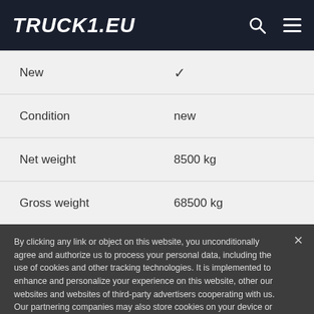TRUCK1.EU
| Property | Value |
| --- | --- |
| New | ✓ |
| Condition | new |
| Net weight | 8500 kg |
| Gross weight | 68500 kg |
By clicking any link or object on this website, you unconditionally agree and authorize us to process your personal data, including the use of cookies and other tracking technologies. It is implemented to enhance and personalize your experience on this website, other our websites and websites of third-party advertisers cooperating with us. Our partnering companies may also store cookies on your device or use similar technologies to collect and process the personal information. Learn more about how we treat your private information.